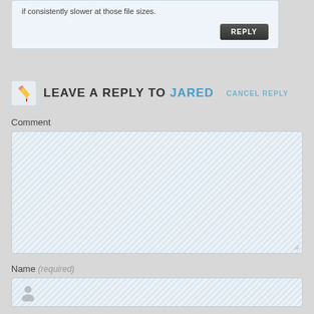if consistently slower at those file sizes.
REPLY
LEAVE A REPLY TO JARED   CANCEL REPLY
Comment
[Figure (screenshot): Comment text area with diagonal stripe background pattern and resize handle]
Name (required)
[Figure (screenshot): Name input field with diagonal stripe background and person icon]
Email (required)